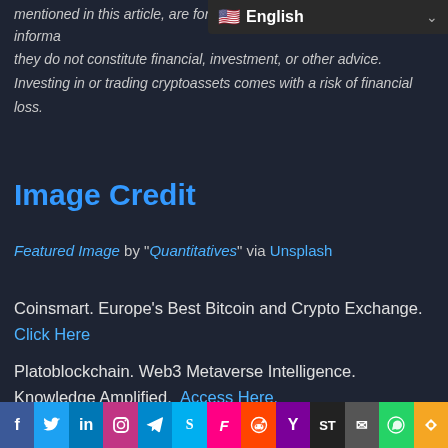English (language selector)
mentioned in this article, are for informa
they do not constitute financial, investment, or other advice. Investing in or trading cryptoassets comes with a risk of financial loss.
Image Credit
Featured Image by "Quantitatives" via Unsplash
Coinsmart. Europe's Best Bitcoin and Crypto Exchange. Click Here
Platoblockchain. Web3 Metaverse Intelligence. Knowledge Amplified. Access Here.
Source: https://www.cryptoglobe.com/latest/2022/05/ada-it-engineer-leaves-job-at-tradfi-firm-to-work-with-cardano/